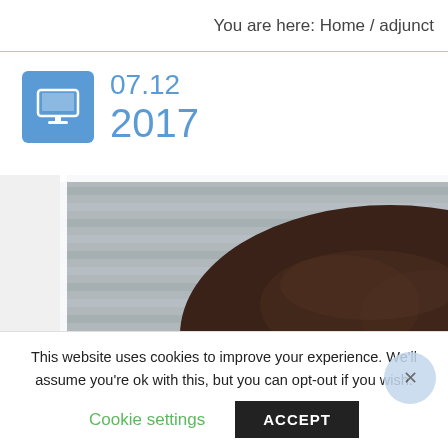You are here: Home / adjunct
07.12
2017
[Figure (photo): A cropped photograph showing the top of a person's head with dark hair, against a background of horizontal metal slats (like a garage door or shutter). The image is partially cropped, showing only the top of the head.]
This website uses cookies to improve your experience. We'll assume you're ok with this, but you can opt-out if you wish.
Cookie settings
ACCEPT